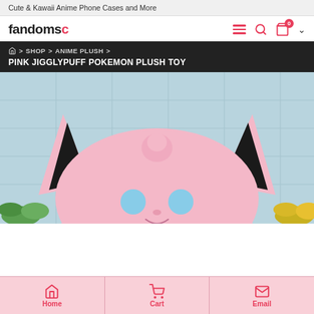Cute & Kawaii Anime Phone Cases and More
[Figure (logo): Fandome logo in black and red text]
SHOP > ANIME PLUSH > PINK JIGGLYPUFF POKEMON PLUSH TOY
PINK JIGGLYPUFF POKEMON PLUSH TOY
[Figure (photo): Close-up photo of a pink Jigglypuff Pokemon plush toy showing the top of its head with black ears and a pink curl, against a light blue tiled background with plants]
Home   Cart   Email